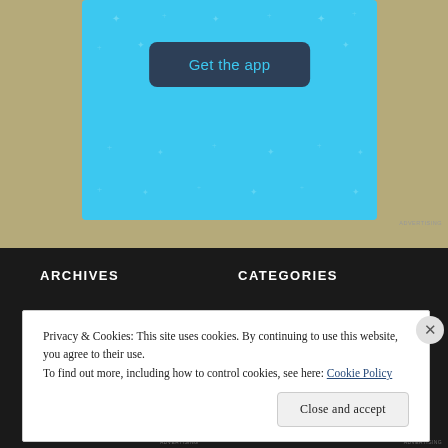[Figure (screenshot): Blue banner with sparkle decorations and a dark 'Get the app' button, on a tan/gold background]
ARCHIVES
CATEGORIES
Privacy & Cookies: This site uses cookies. By continuing to use this website, you agree to their use.
To find out more, including how to control cookies, see here: Cookie Policy
Close and accept